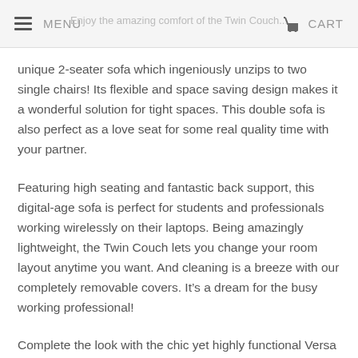MENU   Enjoy the amazing comfort of the Twin Couch...   CART
unique 2-seater sofa which ingeniously unzips to two single chairs! Its flexible and space saving design makes it a wonderful solution for tight spaces. This double sofa is also perfect as a love seat for some real quality time with your partner.
Featuring high seating and fantastic back support, this digital-age sofa is perfect for students and professionals working wirelessly on their laptops. Being amazingly lightweight, the Twin Couch lets you change your room layout anytime you want. And cleaning is a breeze with our completely removable covers. It's a dream for the busy working professional!
Complete the look with the chic yet highly functional Versa Table. It is the world's first designer bean bag coffee table that transforms